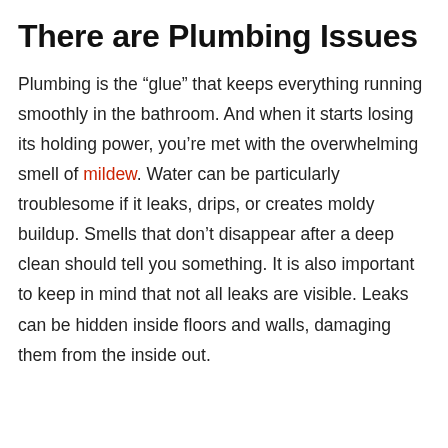There are Plumbing Issues
Plumbing is the “glue” that keeps everything running smoothly in the bathroom. And when it starts losing its holding power, you’re met with the overwhelming smell of mildew. Water can be particularly troublesome if it leaks, drips, or creates moldy buildup. Smells that don’t disappear after a deep clean should tell you something. It is also important to keep in mind that not all leaks are visible. Leaks can be hidden inside floors and walls, damaging them from the inside out.